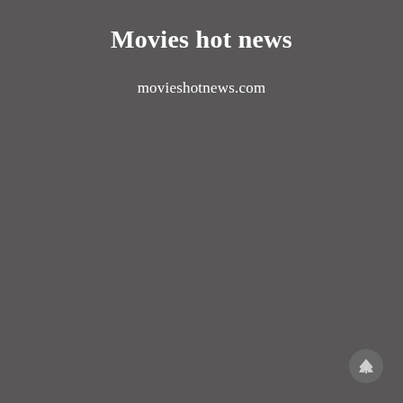Movies hot news
movieshotnews.com
[Figure (other): Circular scroll-to-top button with upward arrow, dark gray background]